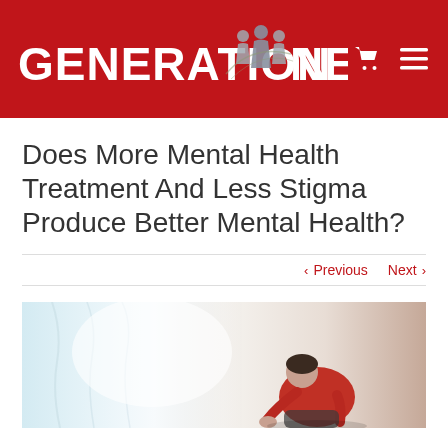GENERATION NEXT
Does More Mental Health Treatment And Less Stigma Produce Better Mental Health?
< Previous   Next >
[Figure (photo): Person in red shirt hunched over, sitting near white curtains by a window, depicting stress or depression]